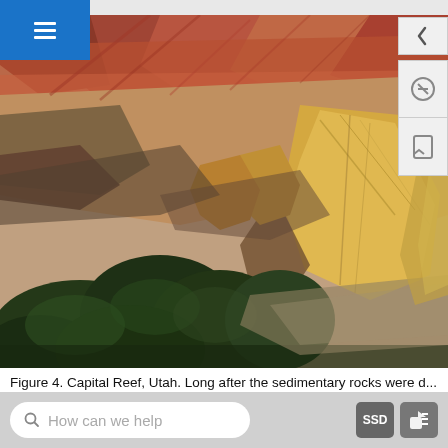[Figure (photo): Aerial/elevated view of Capital Reef, Utah, showing dramatic sedimentary rock formations in reds, oranges, and tans with green trees (juniper/pinyon) in the foreground and layered canyon walls in the background.]
Figure 4. Capital Reef, Utah. Long after the sedimentary rocks were deposited, the region was uplifted thousands of vertical feet, due to large-scale plate...